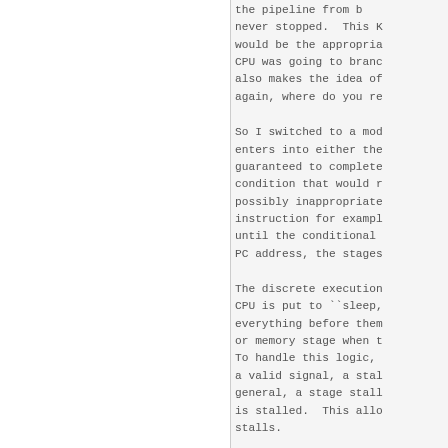the pipeline from b never stopped.  This K would be the appropria CPU was going to branc also makes the idea of again, where do you re
So I switched to a mod enters into either the guaranteed to complete condition that would r possibly inappropriate instruction for exampl until the conditional PC address, the stages
The discrete execution CPU is put to ``sleep, everything before them or memory stage when t To handle this logic, a valid signal, a stal general, a stage stall is stalled.  This allo stalls.
This approach is also